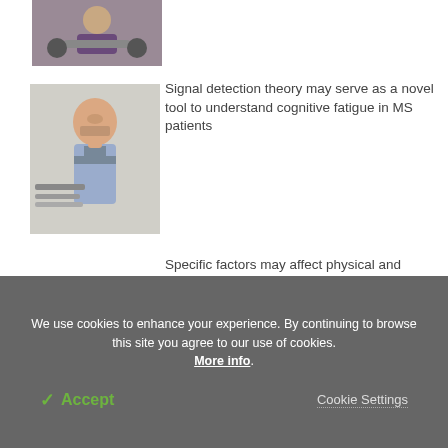[Figure (photo): Partial view of a person in a wheelchair with another person standing nearby]
[Figure (photo): Man in a blue shirt rubbing his eyes/face at a desk with books, appearing fatigued]
Signal detection theory may serve as a novel tool to understand cognitive fatigue in MS patients
Specific factors may affect physical and mental quality of life among people with multiple sclerosis
We use cookies to enhance your experience. By continuing to browse this site you agree to our use of cookies. More info.
✓ Accept
Cookie Settings